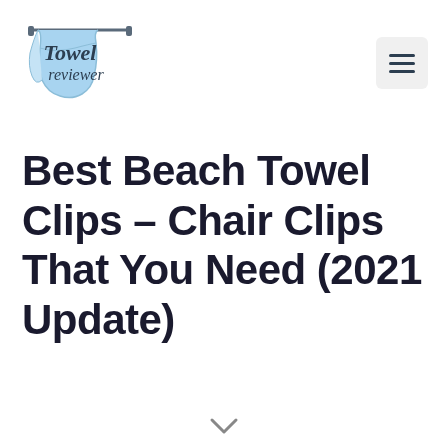Towel reviewer
Best Beach Towel Clips – Chair Clips That You Need (2021 Update)